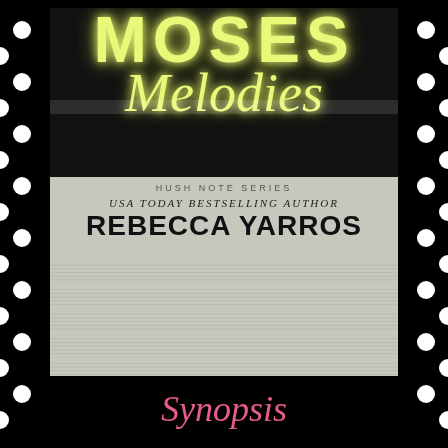[Figure (illustration): Book cover for 'Moses Melodies' from the Hush Note Series by USA Today Bestselling Author Rebecca Yarros. Black background with yellow neon text at top showing partial 'MOSES' and script 'Melodies', lower half shows sheet music background with series name, author credit and name.]
Synopsis